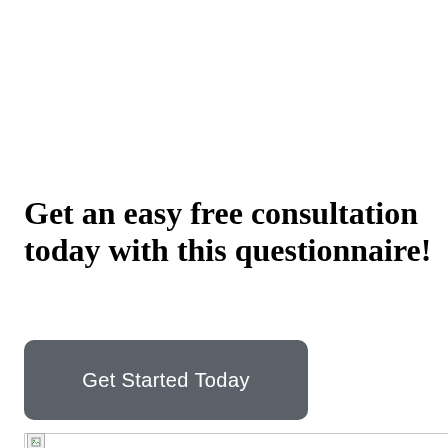Get an easy free consultation today with this questionnaire!
Get Started Today
[Figure (photo): Broken image placeholder at the bottom of the page]